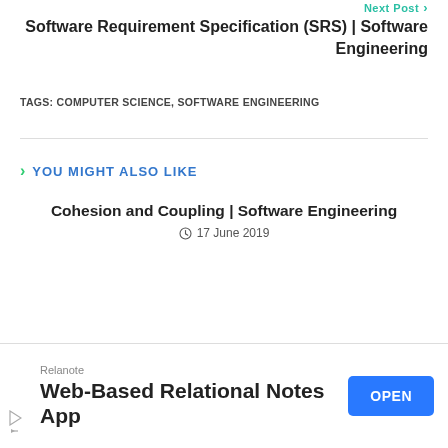Next Post →
Software Requirement Specification (SRS) | Software Engineering
TAGS: COMPUTER SCIENCE, SOFTWARE ENGINEERING
> YOU MIGHT ALSO LIKE
Cohesion and Coupling | Software Engineering
17 June 2019
Prototype Model | Software Engineering
Relanote
Web-Based Relational Notes App
OPEN